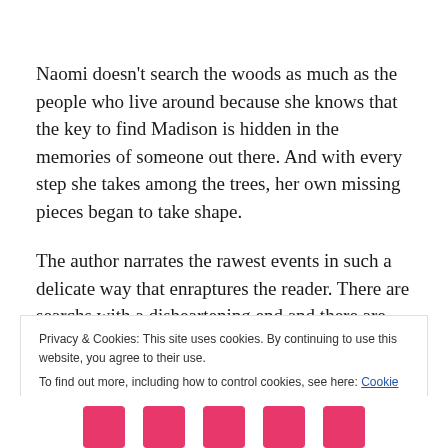Naomi doesn't search the woods as much as the people who live around because she knows that the key to find Madison is hidden in the memories of someone out there. And with every step she takes among the trees, her own missing pieces began to take shape.
The author narrates the rawest events in such a delicate way that enraptures the reader. There are searchs with a disheartening end and there are others whose happy
Privacy & Cookies: This site uses cookies. By continuing to use this website, you agree to their use.
To find out more, including how to control cookies, see here: Cookie Policy
Close and accept